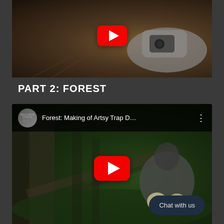[Figure (screenshot): YouTube video thumbnail showing a person holding a camera, dark warm-toned background, with YouTube play button overlay]
PART 2: FOREST
[Figure (screenshot): YouTube embedded video player showing 'Forest: Making of Artsy Trap D...' with channel icon, menu dots, forest scene background with person crouching among trees, YouTube play button overlay, and Chat with us button]